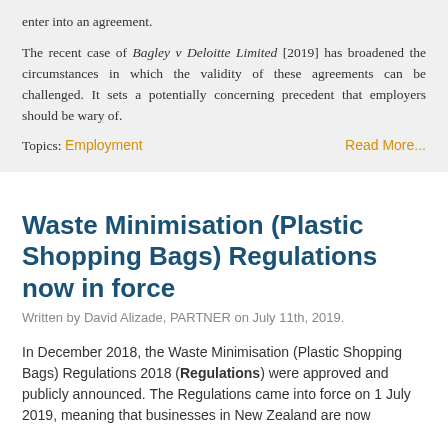enter into an agreement.
The recent case of Bagley v Deloitte Limited [2019] has broadened the circumstances in which the validity of these agreements can be challenged. It sets a potentially concerning precedent that employers should be wary of.
Topics: Employment    Read More...
Waste Minimisation (Plastic Shopping Bags) Regulations now in force
Written by David Alizade, PARTNER on July 11th, 2019.
In December 2018, the Waste Minimisation (Plastic Shopping Bags) Regulations 2018 (Regulations) were approved and publicly announced. The Regulations came into force on 1 July 2019, meaning that businesses in New Zealand are now